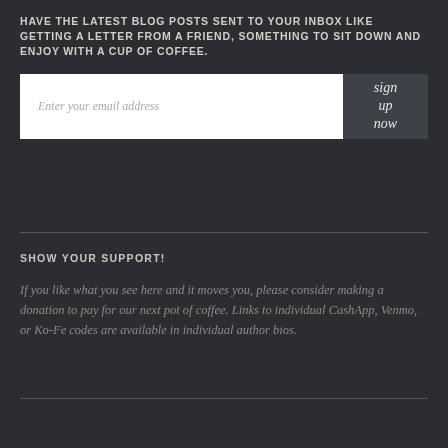HAVE THE LATEST BLOG POSTS SENT TO YOUR INBOX LIKE GETTING A LETTER FROM A FRIEND, SOMETHING TO SIT DOWN AND ENJOY WITH A CUP OF COFFEE.
Enter your email address
sign up now
SHOW YOUR SUPPORT!
If you like what you see here and it moves you, please consider making a donation to pay for our next pot of coffee. Links to individual CashApp, Venmo, or Ko-Fe codes are available in individual author bios.